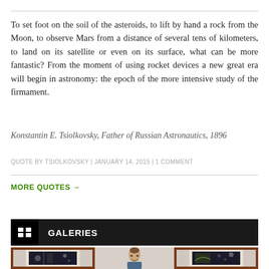To set foot on the soil of the asteroids, to lift by hand a rock from the Moon, to observe Mars from a distance of several tens of kilometers, to land on its satellite or even on its surface, what can be more fantastic? From the moment of using rocket devices a new great era will begin in astronomy: the epoch of the more intensive study of the firmament.
Konstantin E. Tsiolkovsky, Father of Russian Astronautics, 1896
QUOTE BY TSIOLKOVSKY | JANUARY 14, 2015 | 1 COMMENT
MORE QUOTES →
GALERIES
[Figure (photo): Photo strip showing a man standing between two framed artworks with dark space/astronomy themed imagery]